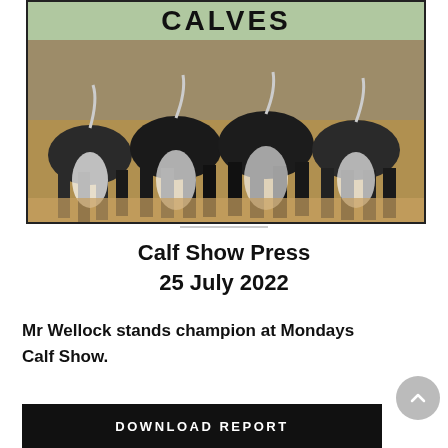[Figure (photo): Photo of Holstein calves standing in a barn, with 'CALVES' text banner at the top of the image on a light green background.]
Calf Show Press
25 July 2022
Mr Wellock stands champion at Mondays Calf Show.
DOWNLOAD REPORT